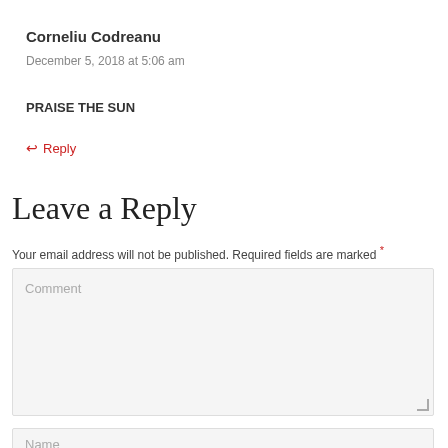Corneliu Codreanu
December 5, 2018 at 5:06 am
PRAISE THE SUN
↩ Reply
Leave a Reply
Your email address will not be published. Required fields are marked *
Comment
Name